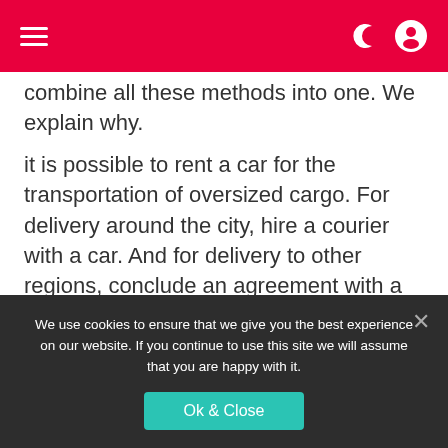Navigation header with hamburger menu and user/theme icons
combine all these methods into one. We explain why.
it is possible to rent a car for the transportation of oversized cargo. For delivery around the city, hire a courier with a car. And for delivery to other regions, conclude an agreement with a transport company.
““ Please note that in this case
We use cookies to ensure that we give you the best experience on our website. If you continue to use this site we will assume that you are happy with it.
Ok & Close